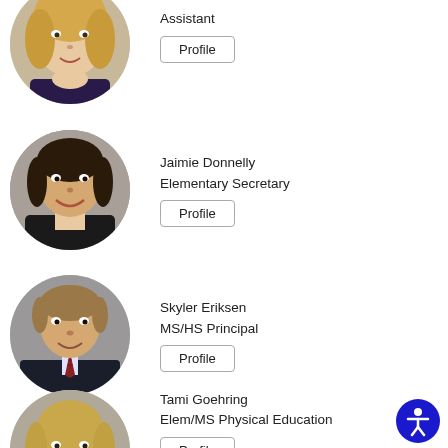[Figure (photo): Partial photo of a woman with blonde hair, circular crop, top portion visible]
Assistant
Profile
[Figure (photo): Photo of Jaimie Donnelly, a woman with dark hair pulled back, smiling, circular crop]
Jaimie Donnelly
Elementary Secretary
Profile
[Figure (photo): Photo of Skyler Eriksen, a man in a suit and tie, smiling, circular crop]
Skyler Eriksen
MS/HS Principal
Profile
[Figure (photo): Partial photo of Tami Goehring, a woman with blonde hair, circular crop, partially cut off at bottom]
Tami Goehring
Elem/MS Physical Education
Profile